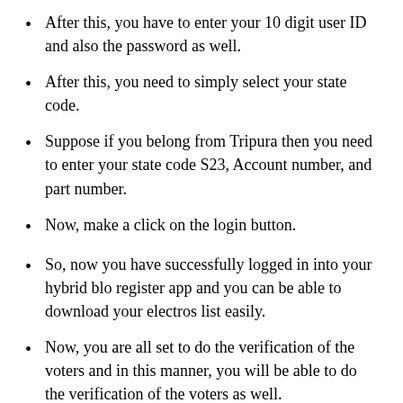After this, you have to enter your 10 digit user ID and also the password as well.
After this, you need to simply select your state code.
Suppose if you belong from Tripura then you need to enter your state code S23, Account number, and part number.
Now, make a click on the login button.
So, now you have successfully logged in into your hybrid blo register app and you can be able to download your electros list easily.
Now, you are all set to do the verification of the voters and in this manner, you will be able to do the verification of the voters as well.
The Hybrid Blo Mobile app is mainly available for all the states of India such as Rajasthan, Maharashtra, Madhya